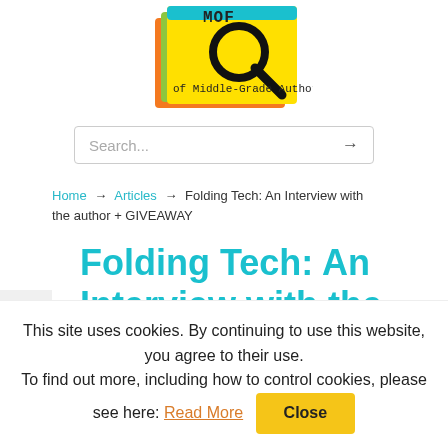[Figure (logo): MOF - of Middle-Grade Authors logo with magnifying glass on colorful stacked books (yellow, orange, green, teal)]
Search...
Home → Articles → Folding Tech: An Interview with the author + GIVEAWAY
Folding Tech: An Interview with the author
This site uses cookies. By continuing to use this website, you agree to their use.
To find out more, including how to control cookies, please see here: Read More [Close]